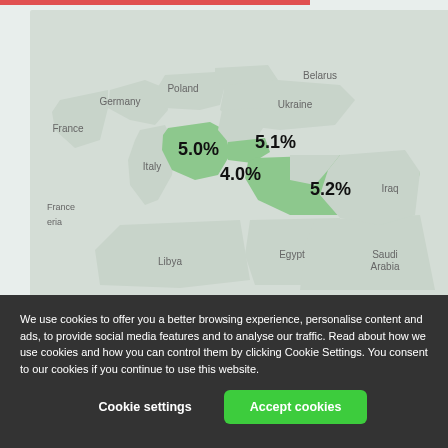[Figure (map): A geographic map of Europe and Middle East region showing countries including Germany, Poland, Belarus, Ukraine, France, Italy, Libya, Egypt, Saudi Arabia, Iraq. Several countries highlighted in green with percentage labels: 5.0%, 5.1%, 4.0%, 5.2% shown over Greece/Balkans area and Turkey.]
We use cookies to offer you a better browsing experience, personalise content and ads, to provide social media features and to analyse our traffic. Read about how we use cookies and how you can control them by clicking Cookie Settings. You consent to our cookies if you continue to use this website.